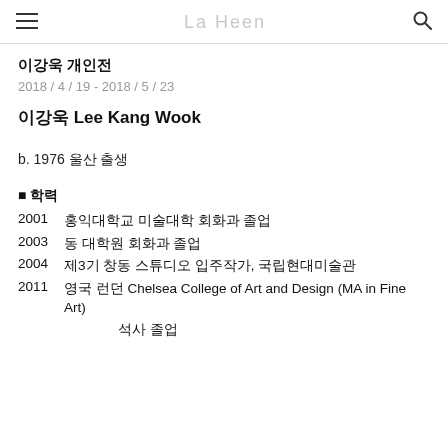La Heen
이강욱 개인전
2018 / 4 / 19 - 2018 / 5 / 23
이강욱 Lee Kang Wook
b. 1976 울산 출생
■ 학력
2001    홍익대학교 미술대학 회화과 졸업
2003    동 대학원 회화과 졸업
2004    제3기 창동 스튜디오 입주작가, 국립현대미술관
2011    영국 런던 Chelsea College of Art and Design (MA in Fine Art)
석사 졸업